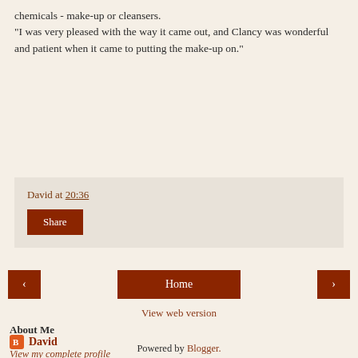chemicals - make-up or cleansers.
"I was very pleased with the way it came out, and Clancy was wonderful and patient when it came to putting the make-up on."
David at 20:36
Share
Home
View web version
About Me
David
View my complete profile
Powered by Blogger.